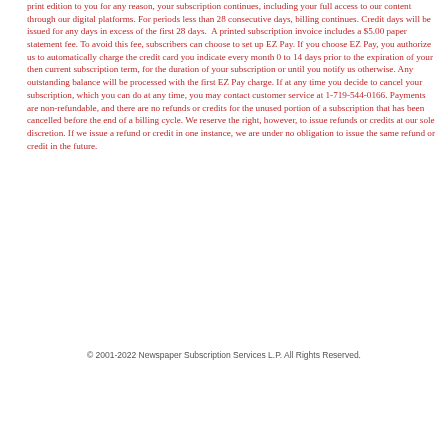print edition to you for any reason, your subscription continues, including your full access to our content through our digital platforms. For periods less than 28 consecutive days, billing continues. Credit days will be issued for any days in excess of the first 28 days. A printed subscription invoice includes a $5.00 paper statement fee. To avoid this fee, subscribers can choose to set up EZ Pay. If you choose EZ Pay, you authorize us to automatically charge the credit card you indicate every month 0 to 14 days prior to the expiration of your then current subscription term, for the duration of your subscription or until you notify us otherwise. Any outstanding balance will be processed with the first EZ Pay charge. If at any time you decide to cancel your subscription, which you can do at any time, you may contact customer service at 1-719-544-0166. Payments are non-refundable, and there are no refunds or credits for the unused portion of a subscription that has been cancelled before the end of a billing cycle. We reserve the right, however, to issue refunds or credits at our sole discretion. If we issue a refund or credit in one instance, we are under no obligation to issue the same refund or credit in the future.
© 2001-2022 Newspaper Subscription Services L.P. All Rights Reserved.